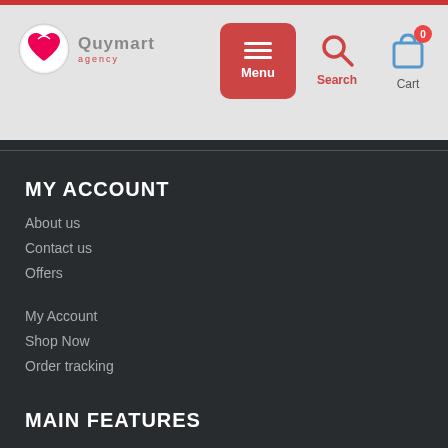Quymart — Menu | Search | Cart
MY ACCOUNT
About us
Contact us
Offers
My Account
Shop Now
Order tracking
MAIN FEATURES
Payment Methods
Shipping & Delivery